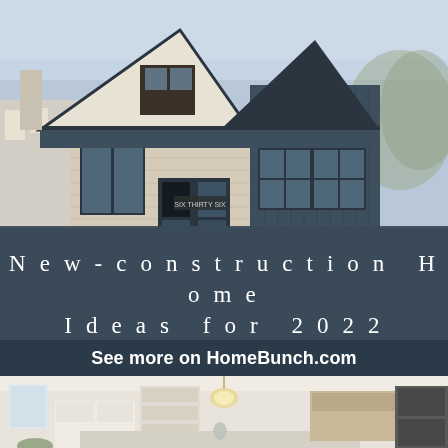[Figure (photo): Exterior photo of a modern new-construction home with dark charcoal board-and-batten siding, light stone/brick facade, black-framed windows, and a peaked roof. Street number visible on the entryway.]
M House Development - Margaret Rajic Photography
New-construction Home Ideas for 2022
See more on HomeBunch.com
[Figure (photo): Interior photo of a bright, open-concept kitchen with white cabinetry, a large island, pendant chandelier with brass accents, open shelving, and built-in appliances. Light and airy with natural tones.]